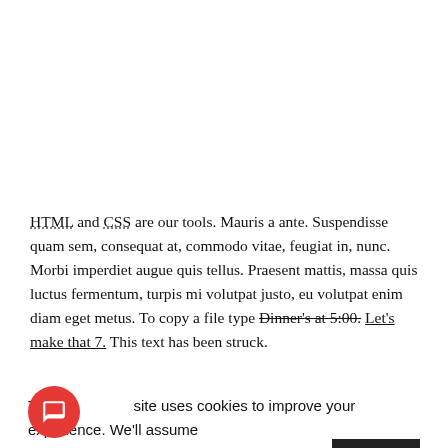HTML and CSS are our tools. Mauris a ante. Suspendisse quam sem, consequat at, commodo vitae, feugiat in, nunc. Morbi imperdiet augue quis tellus. Praesent mattis, massa quis luctus fermentum, turpis mi volutpat justo, eu volutpat enim diam eget metus. To copy a file type Dinner's at 5:00. Let's make that 7. This text has been struck.
This site uses cookies to improve your experience. We'll assume with this, but you can opt-out if you wish. Accept Read More